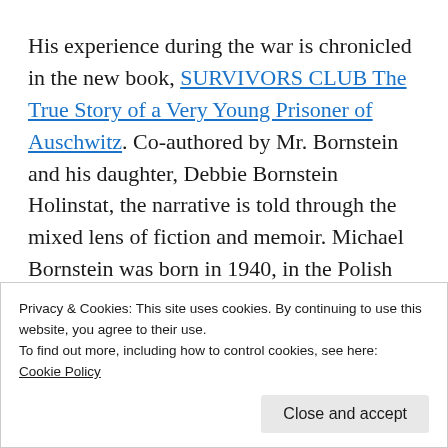His experience during the war is chronicled in the new book, SURVIVORS CLUB The True Story of a Very Young Prisoner of Auschwitz. Co-authored by Mr. Bornstein and his daughter, Debbie Bornstein Holinstat, the narrative is told through the mixed lens of fiction and memoir. Michael Bornstein was born in 1940, in the Polish town of Zarki to a middle class family. He is one of the youngest survivors of Auschwitz and lost several family
Privacy & Cookies: This site uses cookies. By continuing to use this website, you agree to their use.
To find out more, including how to control cookies, see here:
Cookie Policy
Close and accept